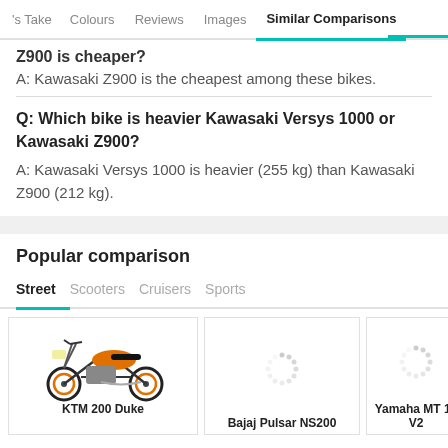's Take  Colours  Reviews  Images  Similar Comparisons
Z900 is cheaper?
A: Kawasaki Z900 is the cheapest among these bikes.
Q: Which bike is heavier Kawasaki Versys 1000 or Kawasaki Z900?
A: Kawasaki Versys 1000 is heavier (255 kg) than Kawasaki Z900 (212 kg).
Popular comparison
Street  Scooters  Cruisers  Sports
[Figure (photo): KTM 200 Duke motorcycle image]
KTM 200 Duke
[Figure (photo): Loading spinner for Bajaj Pulsar NS200]
Bajaj Pulsar NS200
[Figure (photo): Loading spinner for Yamaha MT 15 V2]
Yamaha MT 15 V2